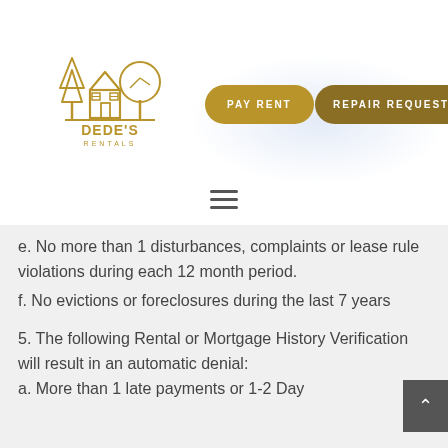[Figure (logo): Dede's Rentals logo featuring a house with trees in gold/yellow line art style, with text DEDE'S RENTALS below]
PAY RENT
REPAIR REQUEST
e. No more than 1 disturbances, complaints or lease rule violations during each 12 month period.
f. No evictions or foreclosures during the last 7 years
5. The following Rental or Mortgage History Verification will result in an automatic denial:
a. More than 1 late payments or 1-2 Day...